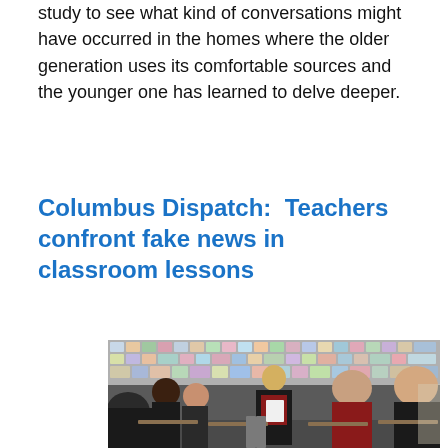study to see what kind of conversations might have occurred in the homes where the older generation uses its comfortable sources and the younger one has learned to delve deeper.
Columbus Dispatch:  Teachers confront fake news in classroom lessons
[Figure (photo): A classroom scene showing a female teacher in a red shirt and black blazer standing and reading from a paper, surrounded by students seated at desks who are also reading or writing. The classroom wall in the background is covered with colorful posters and images.]